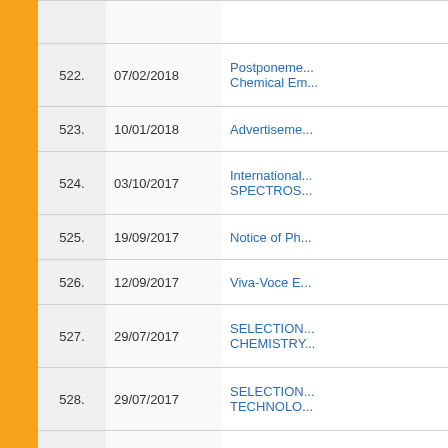| No. | Date | Link |
| --- | --- | --- |
| 522. | 07/02/2018 | Postponeme... Chemical Em... |
| 523. | 10/01/2018 | Advertiseme... |
| 524. | 03/10/2017 | International... SPECTROS... |
| 525. | 19/09/2017 | Notice of Ph... |
| 526. | 12/09/2017 | Viva-Voce E... |
| 527. | 29/07/2017 | SELECTION... CHEMISTRY... |
| 528. | 29/07/2017 | SELECTION... TECHNOLO... |
| 529. | 29/07/2017 | SELECTION... SESSION 20... |
| 530. | 13/07/2017 | Rules of Bra... |
| 531. | 13/07/2017 | Invitation lett... |
| 532. | 05/07/2017 | Admission S... |
| 533. | 31/05/2017 | Datesheet (R... |
| 534. | 06/05/2017 | Link of Date... |
| 535. | 25/04/2017 | Date sheet... |